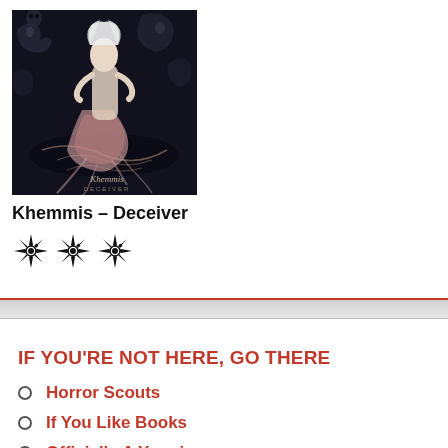[Figure (illustration): Album cover art for Khemmis - Deceiver. Dark fantasy illustration showing a pale figure with white hair standing in dark water, surrounded by monstrous creatures in shades of gray. The album name 'Khemmis' and 'Deceiver' are visible at the bottom of the cover.]
Khemmis – Deceiver
[Figure (other): Three ornate star/snowflake-style rating symbols rendered in black, indicating a 3-star rating.]
IF YOU'RE NOT HERE, GO THERE
Horror Scouts
If You Like Books
Officially A Yuppie